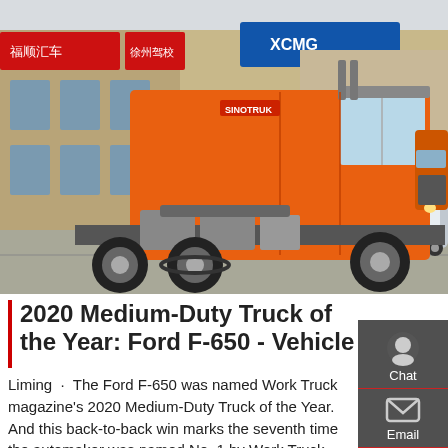[Figure (photo): Orange heavy-duty truck (SINOTRUK HOWO tractor) parked in front of a commercial building with Chinese signage and an XCMG dealership sign in the background.]
2020 Medium-Duty Truck of the Year: Ford F-650 - Vehicle
Liming · The Ford F-650 was named Work Truck magazine's 2020 Medium-Duty Truck of the Year. And this back-to-back win marks the seventh time the automaker was named No. 1 by Work Truck readers. "It is an honor to accept the Medium-Duty Truck of the Year Award for the Built Ford Tough F-650 chassis